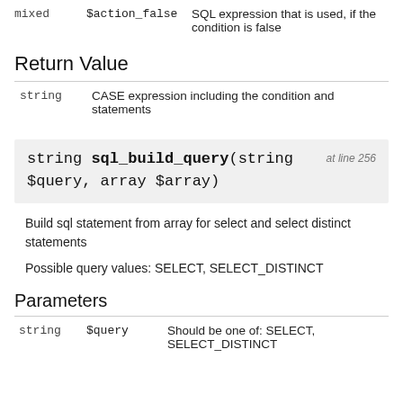| Type | Name | Description |
| --- | --- | --- |
| mixed | $action_false | SQL expression that is used, if the condition is false |
Return Value
| Type | Description |
| --- | --- |
| string | CASE expression including the condition and statements |
string sql_build_query(string $query, array $array)  at line 256
Build sql statement from array for select and select distinct statements
Possible query values: SELECT, SELECT_DISTINCT
Parameters
| Type | Name | Description |
| --- | --- | --- |
| string | $query | Should be one of: SELECT, SELECT_DISTINCT |